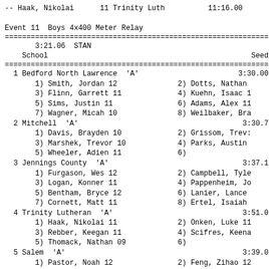-- Haak, Nikolai      11 Trinity Luth          11:16.00
Event 11  Boys 4x400 Meter Relay
| School | Seed |
| --- | --- |
| 1 Bedford North Lawrence  'A' | 3:30.00 |
|   1) Smith, Jordan 12 | 2) Dotts, Nathan |
|   3) Flinn, Garrett 11 | 4) Kuehn, Isaac 1 |
|   5) Sims, Justin 11 | 6) Adams, Alex 11 |
|   7) Wagner, Micah 10 | 8) Weilbaker, Bra |
| 2 Mitchell  'A' | 3:30.74 |
|   1) Davis, Brayden 10 | 2) Grissom, Trev: |
|   3) Marshek, Trevor 10 | 4) Parks, Austin |
|   5) Wheeler, Adien 11 | 6) |
| 3 Jennings County  'A' | 3:37.10 |
|   1) Furgason, Wes 12 | 2) Campbell, Tyle |
|   3) Logan, Konner 11 | 4) Pappenheim, Jo |
|   5) Bentham, Bryce 12 | 6) Lanier, Lance |
|   7) Cornett, Matt 11 | 8) Ertel, Isaiah |
| 4 Trinity Lutheran  'A' | 3:51.00 |
|   1) Haak, Nikolai 11 | 2) Onken, Luke 11 |
|   3) Rebber, Keegan 11 | 4) Scifres, Keena |
|   5) Thomack, Nathan 09 | 6) |
| 5 Salem  'A' | 3:39.00 |
|   1) Pastor, Noah 12 | 2) Feng, Zihao 12 |
|   3) Meadows, Hunter 12 | 4) Niece, Brent 1 |
|   5) Bane, Keegan 10 | 6) Pridgen, Max 1 |
| 6 Seymour  'A' | 3:42.00 |